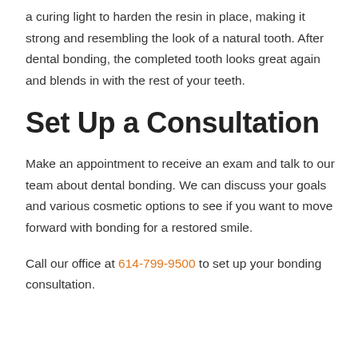a curing light to harden the resin in place, making it strong and resembling the look of a natural tooth. After dental bonding, the completed tooth looks great again and blends in with the rest of your teeth.
Set Up a Consultation
Make an appointment to receive an exam and talk to our team about dental bonding. We can discuss your goals and various cosmetic options to see if you want to move forward with bonding for a restored smile.
Call our office at 614-799-9500 to set up your bonding consultation.